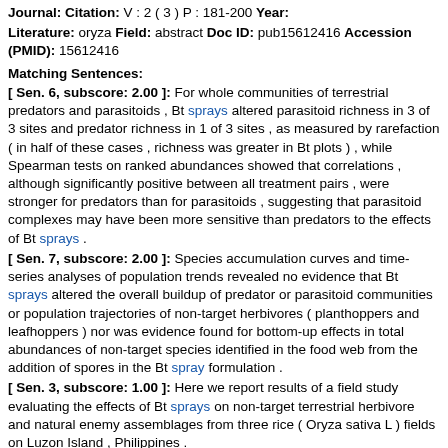Journal: Citation: V : 2 ( 3 ) P : 181-200 Year:
Literature: oryza Field: abstract Doc ID: pub15612416 Accession (PMID): 15612416
Matching Sentences:
[ Sen. 6, subscore: 2.00 ]: For whole communities of terrestrial predators and parasitoids , Bt sprays altered parasitoid richness in 3 of 3 sites and predator richness in 1 of 3 sites , as measured by rarefaction ( in half of these cases , richness was greater in Bt plots ) , while Spearman tests on ranked abundances showed that correlations , although significantly positive between all treatment pairs , were stronger for predators than for parasitoids , suggesting that parasitoid complexes may have been more sensitive than predators to the effects of Bt sprays .
[ Sen. 7, subscore: 2.00 ]: Species accumulation curves and time-series analyses of population trends revealed no evidence that Bt sprays altered the overall buildup of predator or parasitoid communities or population trajectories of non-target herbivores ( planthoppers and leafhoppers ) nor was evidence found for bottom-up effects in total abundances of non-target species identified in the food web from the addition of spores in the Bt spray formulation .
[ Sen. 3, subscore: 1.00 ]: Here we report results of a field study evaluating the effects of Bt sprays on non-target terrestrial herbivore and natural enemy assemblages from three rice ( Oryza sativa L ) fields on Luzon Island , Philippines .
[ Sen. 4, subscore: 1.00 ]: Because of restrictions on field-testing of transgenic rice , Bt sprays were used to remove foliage-feeding lepidopteran larvae that would be targeted by Bt rice .
[ Sen. 5, subscore: 1.00 ]: Data from a 546-taxa Philippines-wide food web , matched abundance plots , species accumulation curves , time-series analysis , and ecostatistical tests for species richness and ranked